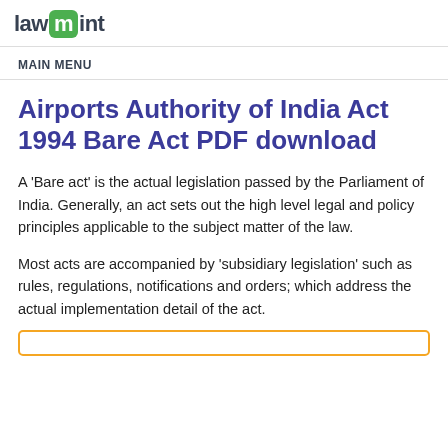lawmint
MAIN MENU
Airports Authority of India Act 1994 Bare Act PDF download
A 'Bare act' is the actual legislation passed by the Parliament of India. Generally, an act sets out the high level legal and policy principles applicable to the subject matter of the law.
Most acts are accompanied by 'subsidiary legislation' such as rules, regulations, notifications and orders; which address the actual implementation detail of the act.